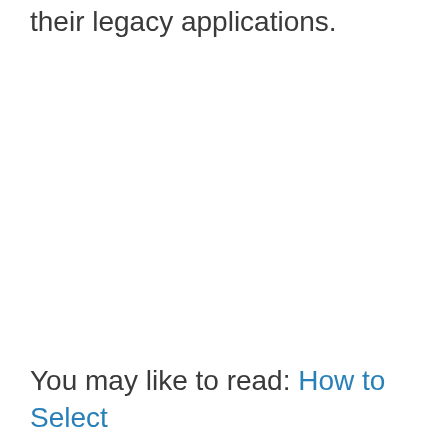their legacy applications.
You may like to read: How to Select